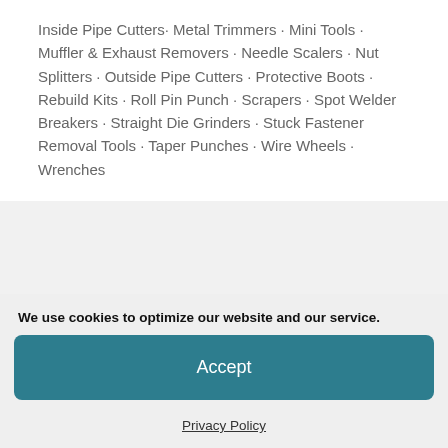Inside Pipe Cutters· Metal Trimmers · Mini Tools · Muffler & Exhaust Removers · Needle Scalers · Nut Splitters · Outside Pipe Cutters · Protective Boots · Rebuild Kits · Roll Pin Punch · Scrapers · Spot Welder Breakers · Straight Die Grinders · Stuck Fastener Removal Tools · Taper Punches · Wire Wheels · Wrenches
[Figure (photo): Two blue power tools: a circular saw on the left and an electric drill on the right]
We use cookies to optimize our website and our service.
Accept
Privacy Policy